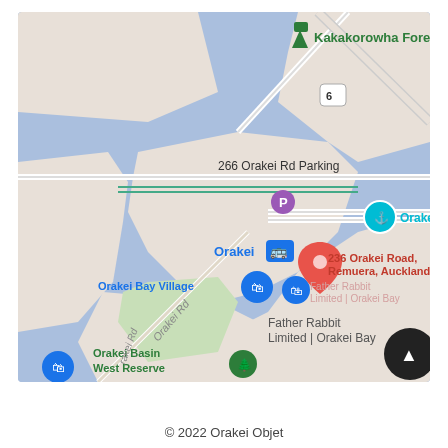[Figure (map): Google Maps screenshot showing Orakei Bay area in Auckland, New Zealand. Shows 236 Orakei Road, Remuera, Auckland 1050. Notable labels include Kakakorowha Forest, Orakei Bay, Orakei train station, 266 Orakei Rd Parking, Orakei Bay Village, Father Rabbit Limited | Orakei Bay, Orakei Basin West Reserve, and Orakei Rd.]
© 2022 Orakei Objet